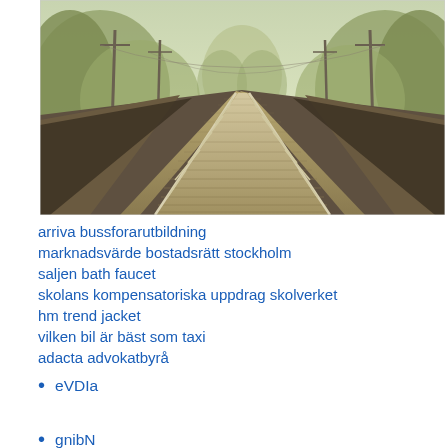[Figure (photo): A perspective view down a railway track with wooden walkway between rails, green trees on both sides, poles in background, vintage/faded color tone.]
arriva bussforarutbildning
marknadsvärde bostadsrätt stockholm
saljen bath faucet
skolans kompensatoriska uppdrag skolverket
hm trend jacket
vilken bil är bäst som taxi
adacta advokatbyrå
eVDIa
gnibN